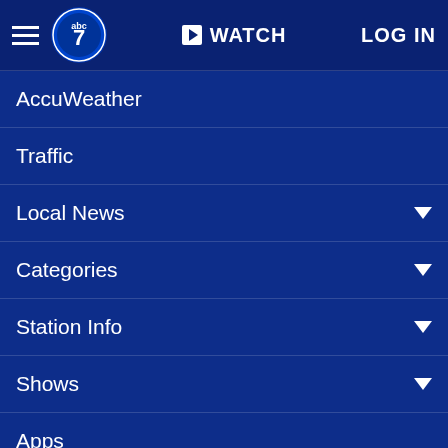abc7 WATCH LOG IN
AccuWeather
Traffic
Local News
Categories
Station Info
Shows
Apps
[Figure (logo): Eyewitness News abc7 WABC-TV logo with ABC 7 circle icon]
Follow Us:
Privacy Policy
Do Not Sell My Personal Information